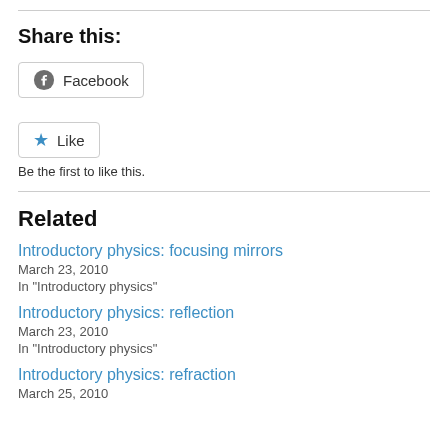Share this:
Facebook
Like
Be the first to like this.
Related
Introductory physics: focusing mirrors
March 23, 2010
In "Introductory physics"
Introductory physics: reflection
March 23, 2010
In "Introductory physics"
Introductory physics: refraction
March 25, 2010